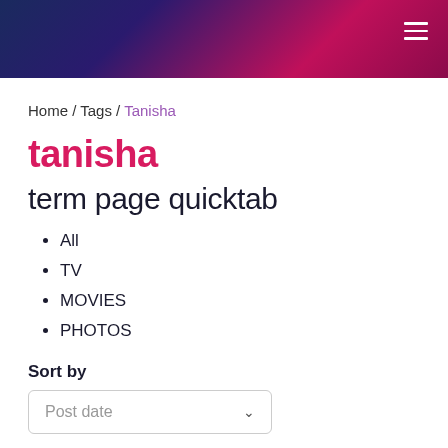Header banner with hamburger menu
Home / Tags / Tanisha
tanisha
term page quicktab
All
TV
MOVIES
PHOTOS
Sort by
Post date
Sason! The Kanil Sharma Show fame Sumona